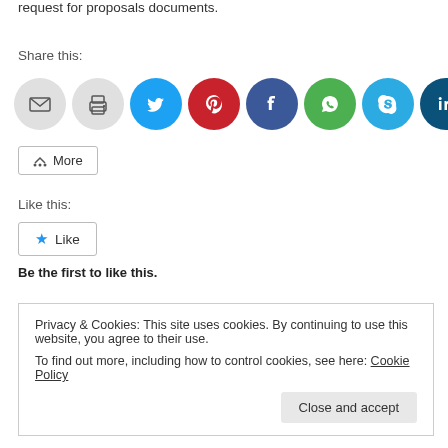request for proposals documents.
Share this:
[Figure (other): Social share buttons: email, print, Twitter, Pinterest, Facebook, WhatsApp, Skype, LinkedIn]
More
Like this:
Like
Be the first to like this.
Privacy & Cookies: This site uses cookies. By continuing to use this website, you agree to their use. To find out more, including how to control cookies, see here: Cookie Policy
Close and accept